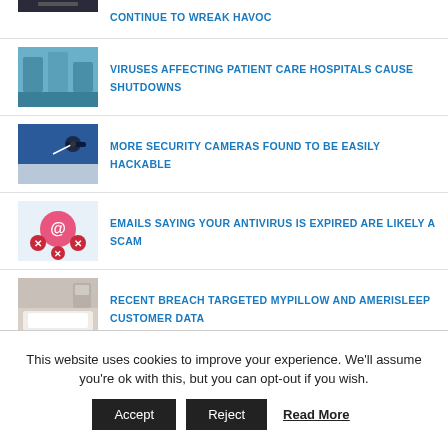CONTINUE TO WREAK HAVOC
[Figure (photo): Interior of a hospital room with blue lighting]
VIRUSES AFFECTING PATIENT CARE HOSPITALS CAUSE SHUTDOWNS
[Figure (photo): Security cameras on a blue wall]
MORE SECURITY CAMERAS FOUND TO BE EASILY HACKABLE
[Figure (photo): Antivirus scam email illustration with @ symbol and X marks]
EMAILS SAYING YOUR ANTIVIRUS IS EXPIRED ARE LIKELY A SCAM
[Figure (photo): Hotel bed with white pillows and wall art]
RECENT BREACH TARGETED MYPILLOW AND AMERISLEEP CUSTOMER DATA
This website uses cookies to improve your experience. We'll assume you're ok with this, but you can opt-out if you wish.
Accept   Reject   Read More